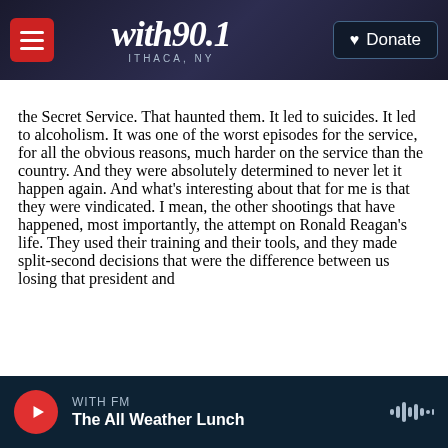with90.1 ITHACA, NY | Donate
the Secret Service. That haunted them. It led to suicides. It led to alcoholism. It was one of the worst episodes for the service, for all the obvious reasons, much harder on the service than the country. And they were absolutely determined to never let it happen again. And what's interesting about that for me is that they were vindicated. I mean, the other shootings that have happened, most importantly, the attempt on Ronald Reagan's life. They used their training and their tools, and they made split-second decisions that were the difference between us losing that president and
WITH FM | The All Weather Lunch